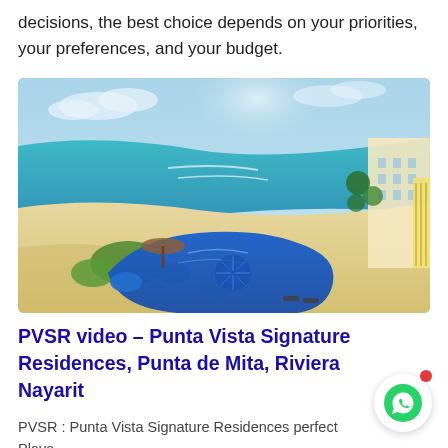decisions, the best choice depends on your priorities, your preferences, and your budget.
[Figure (photo): Aerial view of a beach resort with a large blue swimming pool in the foreground, white sandy beach, turquoise ocean, and tropical resort buildings to the right.]
PVSR video – Punta Vista Signature Residences, Punta de Mita, Riviera Nayarit
PVSR : Punta Vista Signature Residences perfect Playa...